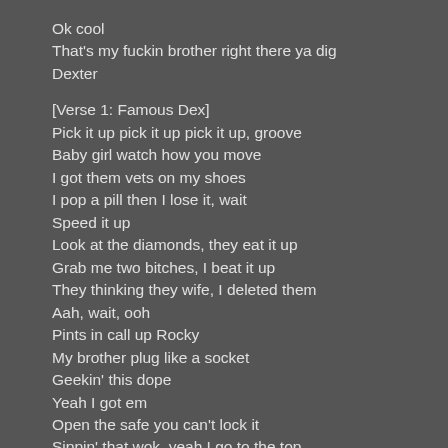Ok cool
That's my fuckin brother right there ya dig
Dexter
[Verse 1: Famous Dex]
Pick it up pick it up pick it up, groove
Baby girl watch how you move
I got them vets on my shoes
I pop a pill then I lose it, wait
Speed it up
Look at the diamonds, they eat it up
Grab me two bitches, I beat it up
They thinking they wife, I deleted them
Aah, wait, ooh
Pints in call up Rocky
My brother plug like a socket
Geekin' this dope
Yeah I got em
Open the safe you can't lock it
Sippin' that wok, yeah I go to the top